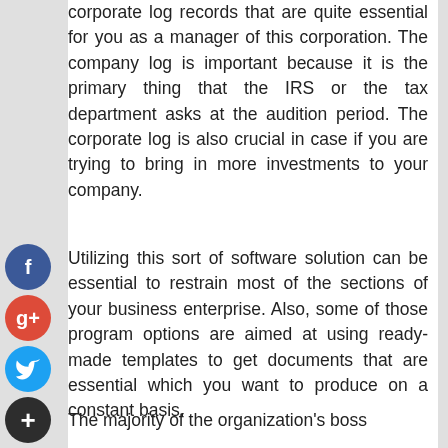corporate log records that are quite essential for you as a manager of this corporation. The company log is important because it is the primary thing that the IRS or the tax department asks at the audition period. The corporate log is also crucial in case if you are trying to bring in more investments to your company.
Utilizing this sort of software solution can be essential to restrain most of the sections of your business enterprise. Also, some of those program options are aimed at using ready-made templates to get documents that are essential which you want to produce on a constant basis.
The majority of the organization's boss